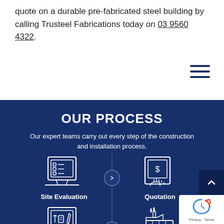quote on a durable pre-fabricated steel building by calling Trusteel Fabrications today on 03 9560 4322.
OUR PROCESS
Our expert teams carry out every step of the construction and installation process.
[Figure (illustration): Icon of a laptop/tablet showing a checklist document - Site Evaluation step]
Site Evaluation
[Figure (illustration): Icon of a tablet with a dollar sign document and a hand tapping it - Quotation step]
Quotation
[Figure (illustration): Icon of a monitor/screen with tools (wrench, panel, pencil) - Design/Engineering step]
[Figure (illustration): Icon of a factory/manufacturing building - Fabrication step]